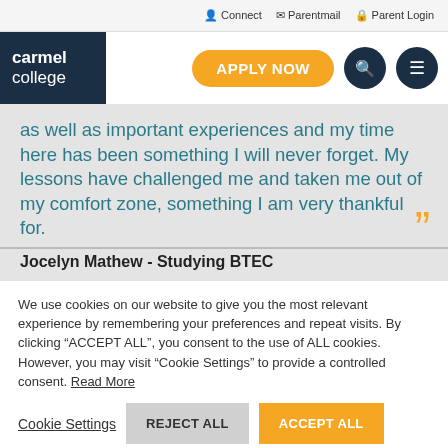Connect  Parentmail  Parent Login
[Figure (logo): Carmel College logo with dark navy background and white text reading 'carmel college', alongside navigation header with orange 'APPLY NOW' button and dark circular search and menu icons]
as well as important experiences and my time here has been something I will never forget. My lessons have challenged me and taken me out of my comfort zone, something I am very thankful for.
Jocelyn Mathew - Studying BTEC
We use cookies on our website to give you the most relevant experience by remembering your preferences and repeat visits. By clicking “ACCEPT ALL”, you consent to the use of ALL cookies. However, you may visit "Cookie Settings" to provide a controlled consent. Read More
Cookie Settings  REJECT ALL  ACCEPT ALL